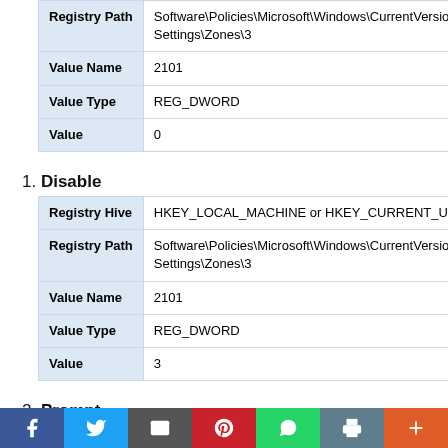| Field | Value |
| --- | --- |
| Registry Path | Software\Policies\Microsoft\Windows\CurrentVersion\Internet Settings\Zones\3 |
| Value Name | 2101 |
| Value Type | REG_DWORD |
| Value | 0 |
1. Disable
| Field | Value |
| --- | --- |
| Registry Hive | HKEY_LOCAL_MACHINE or HKEY_CURRENT_USER |
| Registry Path | Software\Policies\Microsoft\Windows\CurrentVersion\Internet Settings\Zones\3 |
| Value Name | 2101 |
| Value Type | REG_DWORD |
| Value | 3 |
2. Prompt
| Field | Value |
| --- | --- |
| Registry Hive | HKEY_LOCAL_MACHINE or HKEY_CURRENT_USER |
| Registry Path | Software\Policies\Microsoft\Windows\CurrentVersion\Internet Settings\Zones\3 |